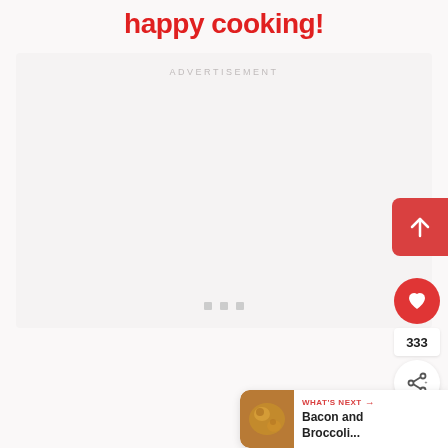happy cooking!
[Figure (other): Advertisement placeholder box with ADVERTISEMENT label and three dots at bottom]
333
WHAT'S NEXT → Bacon and Broccoli...